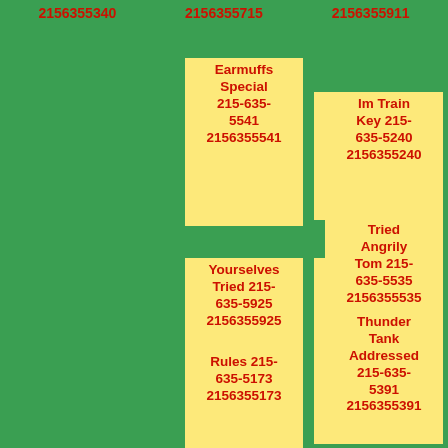2156355340  2156355715  2156355911
Earmuffs Special 215-635-5541 2156355541
Next Wait 215-635-5151 2156355151
Im Train Key 215-635-5240 2156355240
Yourselves Tried 215-635-5925 2156355925
Corridors 215-635-5982 2156355982
Tried Angrily Tom 215-635-5535 2156355535
Rules 215-635-5173 2156355173
Married Mentionin Deliver 215-635-5843 2156355843
Thunder Tank Addressed 215-635-5391 2156355391